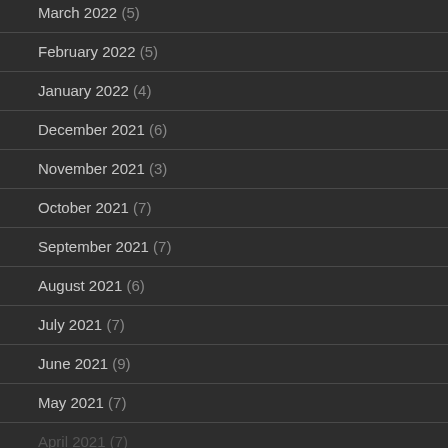March 2022 (5)
February 2022 (5)
January 2022 (4)
December 2021 (6)
November 2021 (3)
October 2021 (7)
September 2021 (7)
August 2021 (6)
July 2021 (7)
June 2021 (9)
May 2021 (7)
April 2021 (7)